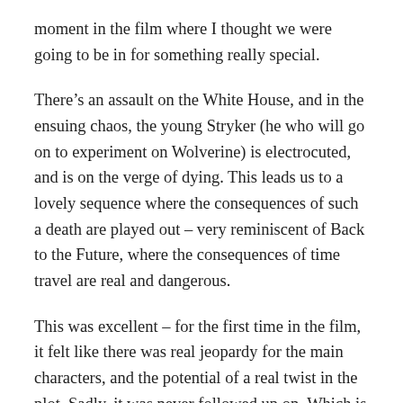moment in the film where I thought we were going to be in for something really special.
There’s an assault on the White House, and in the ensuing chaos, the young Stryker (he who will go on to experiment on Wolverine) is electrocuted, and is on the verge of dying. This leads us to a lovely sequence where the consequences of such a death are played out – very reminiscent of Back to the Future, where the consequences of time travel are real and dangerous.
This was excellent – for the first time in the film, it felt like there was real jeopardy for the main characters, and the potential of a real twist in the plot. Sadly, it was never followed up on. Which is strange, because we’re told that changing the past is essentially what will save the future. So, aside from the film not seeming to want to concentrate on what the underlying theme probably should have been, when the *apparent* main message is dealt with, it’s thrown away